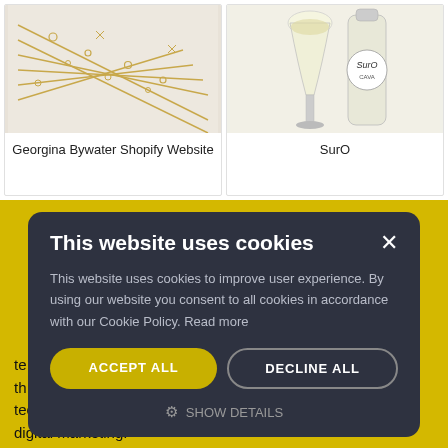[Figure (photo): Photo of gold jewelry/hair pins laid out on a white marble surface]
Georgina Bywater Shopify Website
[Figure (photo): Photo of a champagne glass and a SurO branded bottle]
SurO
This website uses cookies
This website uses cookies to improve user experience. By using our website you consent to all cookies in accordance with our Cookie Policy. Read more
ACCEPT ALL
DECLINE ALL
SHOW DETAILS
te designer. I th an technology and digital marketing.